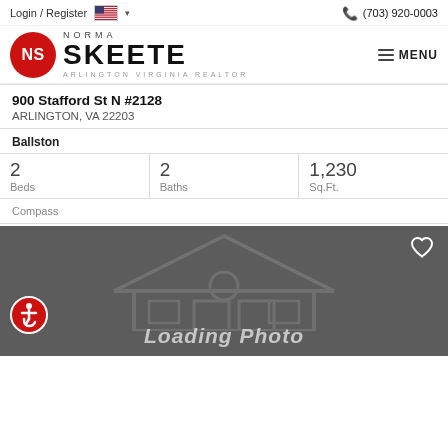Login / Register  (703) 920-0003
[Figure (logo): Norma Skeete Arlington Virginia Realtor logo with red NS circle and MENU button]
900 Stafford St N #2128
ARLINGTON, VA 22203
Ballston
| Beds | Baths | Sq.Ft. |
| --- | --- | --- |
| 2 | 2 | 1,230 |
Compass
[Figure (photo): Loading Photo placeholder with dark gray background, house outline watermark, heart icon, and accessibility icon]